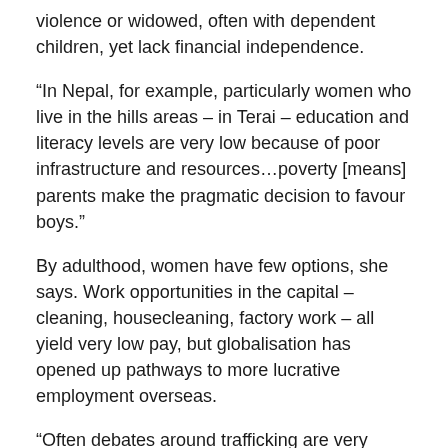violence or widowed, often with dependent children, yet lack financial independence.
“In Nepal, for example, particularly women who live in the hills areas – in Terai – education and literacy levels are very low because of poor infrastructure and resources…poverty [means] parents make the pragmatic decision to favour boys.”
By adulthood, women have few options, she says. Work opportunities in the capital – cleaning, housecleaning, factory work – all yield very low pay, but globalisation has opened up pathways to more lucrative employment overseas.
“Often debates around trafficking are very fraught, because you have these different stories and narratives and experiences that you are tackling on the ground that cannot be very easily generalised to say they’re all victims,” Dr Wu says. “But there are fundamental human rights that have to be respected and protected.”
In the pandemic pressure cooker
COVID-19 has exacerbated things with restrictions substantially